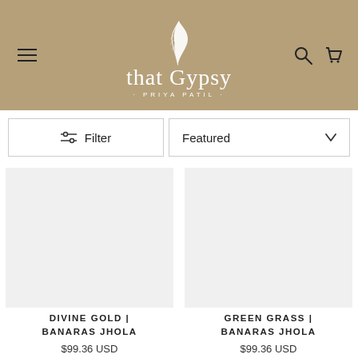[Figure (logo): That Gypsy Priya Patil logo with feather on tan/khaki background, with hamburger menu, search and cart icons]
Filter
Featured
DIVINE GOLD | BANARAS JHOLA
$99.36 USD
GREEN GRASS | BANARAS JHOLA
$99.36 USD